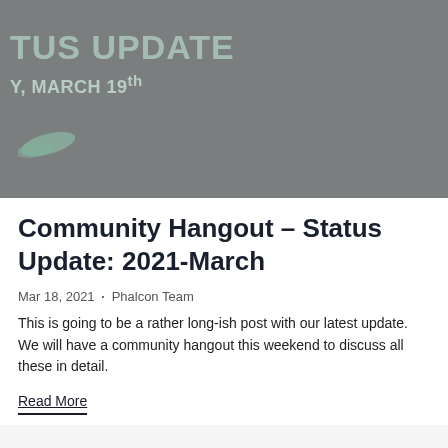[Figure (photo): Hero banner image with gray background showing partial text 'TUS UPDATE' and 'Y, MARCH 19th' in light teal/green color, with decorative leaf element at bottom left]
Community Hangout – Status Update: 2021-March
Mar 18, 2021 · Phalcon Team
This is going to be a rather long-ish post with our latest update. We will have a community hangout this weekend to discuss all these in detail.
Read More